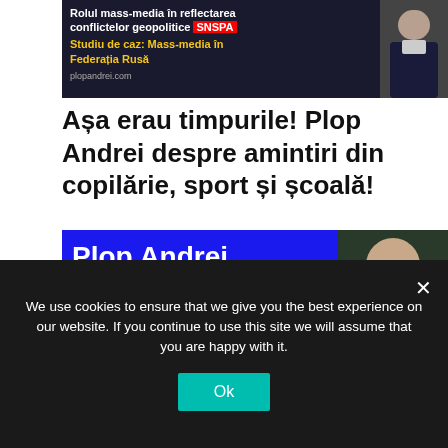[Figure (other): Book/course banner: 'Rolul mass-media în reflectarea conflictelor geopolitice SNSPA Studiu de caz: Mass-media în Federația Rusă plopandrei.com' with a man in a suit on the right]
Așa erau timpurile! Plop Andrei despre amintiri din copilărie, sport și școală!
[Figure (other): Blue banner with 'Plop Andrei' in large white text, 'Așa erau timpurile!' in yellow, 'Plop Andrei despre amintiri' in white, and a photo of a young man on the right]
We use cookies to ensure that we give you the best experience on our website. If you continue to use this site we will assume that you are happy with it.